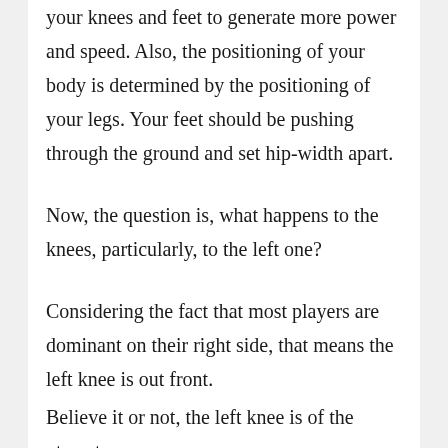your knees and feet to generate more power and speed. Also, the positioning of your body is determined by the positioning of your legs. Your feet should be pushing through the ground and set hip-width apart.
Now, the question is, what happens to the knees, particularly, to the left one?
Considering the fact that most players are dominant on their right side, that means the left knee is out front.
Believe it or not, the left knee is of the utmost